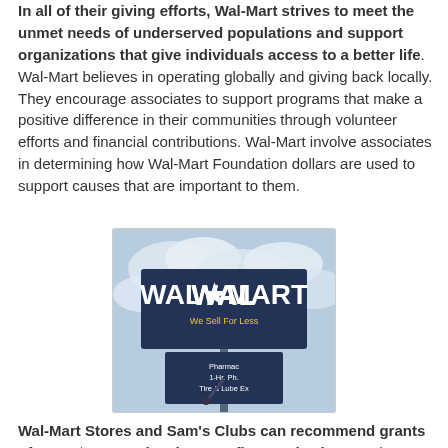In all of their giving efforts, Wal-Mart strives to meet the unmet needs of underserved populations and support organizations that give individuals access to a better life. Wal-Mart believes in operating globally and giving back locally. They encourage associates to support programs that make a positive difference in their communities through volunteer efforts and financial contributions. Wal-Mart involve associates in determining how Wal-Mart Foundation dollars are used to support causes that are important to them.
[Figure (photo): Photograph of a Wal-Mart store sign on a tall pole against a blue cloudy sky, with a smaller sign below listing Pharmacy, 1-Hr. Photo, Tire & Lube Express.]
Wal-Mart Stores and Sam's Clubs can recommend grants of up to $5,000 to local nonprofit organizations. To learn more about requesting a grant through these programs, please first review the Wal-Mart Store and Sam's Club Giving Guidelines and then contact the Community